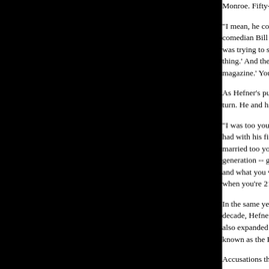Monroe. Fifty-thousand issues of the first Pl
"I mean, he couldn't even get funding for it w comedian Bill Maher, the host of ABC's "Pol was trying to sell this idea to publishers and l thing.' And they were like, 'I don't know, that magazine.' You know, I mean, who were thes
As Hefner's public life as a magazine editor c turn. He and his first wife Millie divorced in
"I was too young," said daughter Christie He had with his first wife, "but if I had to try anc married too young. I think they were typical generation -- got married right out of school a and what you want to grow up to be and whe when you're 21 years old."
In the same year as his divorce, seizing to uti decade, Hefner began hosting the television s also expanded the Playboy brand by launchir known as the Playboy Club.
Accusations that Playboy violated obscenity 1963. He was acquitted in the subsequent tria of what Playboy was about and then proved i stories by some of the most respected writers